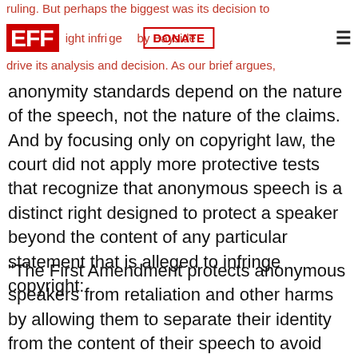ruling. But perhaps the biggest was its decision to
EFF | DONATE | ≡ | ight infringe... by Bayside
drive its analysis and decision. As our brief argues,
anonymity standards depend on the nature of the speech, not the nature of the claims. And by focusing only on copyright law, the court did not apply more protective tests that recognize that anonymous speech is a distinct right designed to protect a speaker beyond the content of any particular statement that is alleged to infringe copyright:
"The First Amendment protects anonymous speakers from retaliation and other harms by allowing them to separate their identity from the content of their speech to avoid retaliation and other harms." The brief goes on: “[A]lthough the right to anonymity is not absolute, courts subject discovery requests like the subpoena here to robust